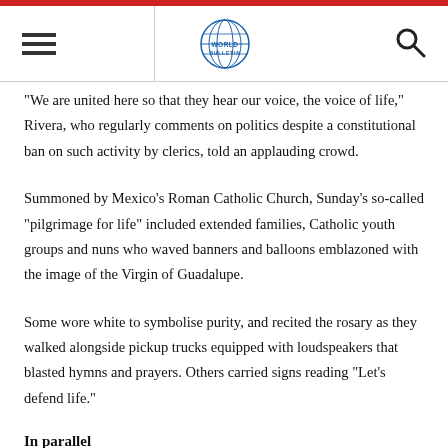World Bulletin
"We are united here so that they hear our voice, the voice of life," Rivera, who regularly comments on politics despite a constitutional ban on such activity by clerics, told an applauding crowd.
Summoned by Mexico's Roman Catholic Church, Sunday's so-called "pilgrimage for life" included extended families, Catholic youth groups and nuns who waved banners and balloons emblazoned with the image of the Virgin of Guadalupe.
Some wore white to symbolise purity, and recited the rosary as they walked alongside pickup trucks equipped with loudspeakers that blasted hymns and prayers. Others carried signs reading "Let's defend life."
In parallel